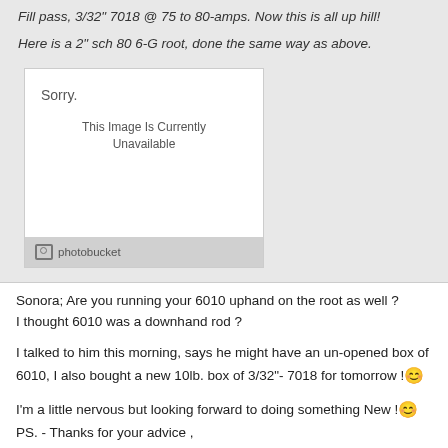Fill pass, 3/32" 7018 @ 75 to 80-amps. Now this is all up hill!
Here is a 2" sch 80 6-G root, done the same way as above.
[Figure (photo): Photobucket image placeholder showing 'Sorry. This Image Is Currently Unavailable']
Sonora; Are you running your 6010 uphand on the root as well ? I thought 6010 was a downhand rod ?
I talked to him this morning, says he might have an un-opened box of 6010, I also bought a new 10lb. box of 3/32"- 7018 for tomorrow !
I'm a little nervous but looking forward to doing something New ! PS. - Thanks for your advice ,
......... Norm
www.normsmobilewelding.blogspot.com